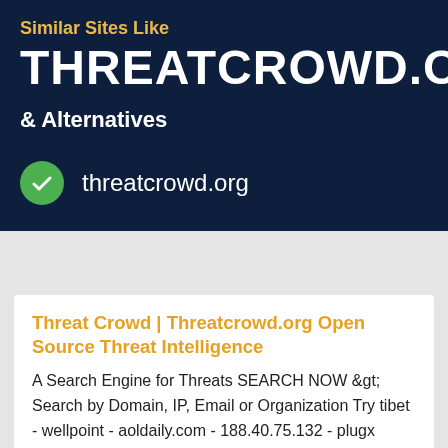Similar Sites Like
THREATCROWD.ORG
& Alternatives
threatcrowd.org
Threat Crowd | Threatcrowd.org Open Source Threat Intelligence
A Search Engine for Threats SEARCH NOW &gt; Search by Domain, IP, Email or Organization Try tibet - wellpoint - aoldaily.com - 188.40.75.132 - plugx ThreatCrowd is now powered by AlienVault® Learn